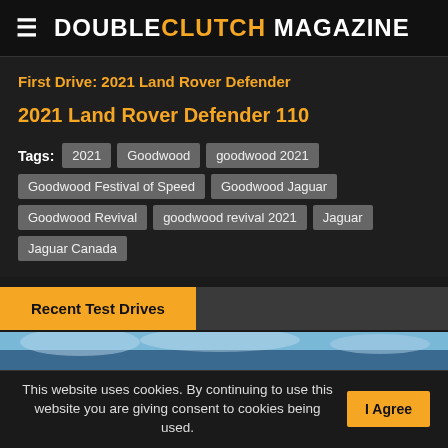DOUBLECLUTCH MAGAZINE
First Drive: 2021 Land Rover Defender
2021 Land Rover Defender 110
Tags: 2021 | Goodwood | goodwood 2021 | Goodwood Festival of Speed | Goodwood Jaguar | Goodwood Revival | goodwood revival 2021 | Jaguar | Jaguar Canada
Recent Test Drives
[Figure (photo): Blue sky photo strip at bottom of page]
This website uses cookies. By continuing to use this website you are giving consent to cookies being used. I Agree